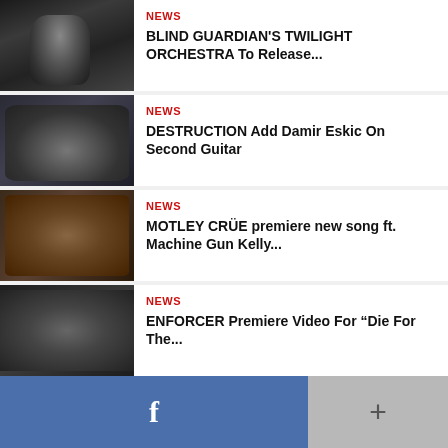[Figure (photo): Black and white photo of a metal vocalist singing into a microphone]
NEWS
BLIND GUARDIAN'S TWILIGHT ORCHESTRA To Release...
[Figure (photo): Photo of the band Destruction posing together]
NEWS
DESTRUCTION Add Damir Eskic On Second Guitar
[Figure (photo): Photo of Motley Crue band members]
NEWS
MOTLEY CRÜE premiere new song ft. Machine Gun Kelly...
[Figure (photo): Black and white photo of the band Enforcer]
NEWS
ENFORCER Premiere Video For “Die For The...
[Figure (photo): Partial photo visible at the bottom of the screen]
[Figure (other): Facebook button (blue) and plus button (grey) at the bottom of the screen]